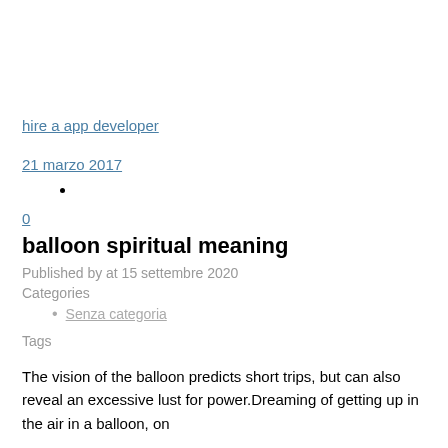hire a app developer
21 marzo 2017
0
balloon spiritual meaning
Published by at 15 settembre 2020
Categories
Senza categoria
Tags
The vision of the balloon predicts short trips, but can also reveal an excessive lust for power.Dreaming of getting up in the air in a balloon, on